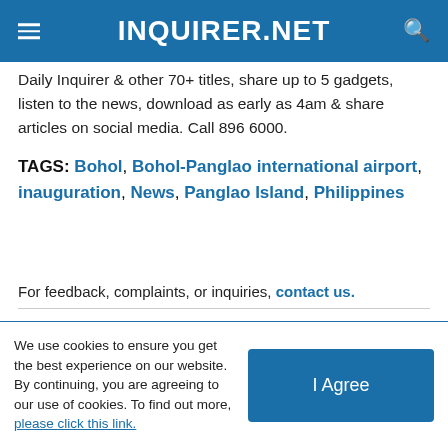INQUIRER.NET
Daily Inquirer & other 70+ titles, share up to 5 gadgets, listen to the news, download as early as 4am & share articles on social media. Call 896 6000.
TAGS: Bohol, Bohol-Panglao international airport, inauguration, News, Panglao Island, Philippines
For feedback, complaints, or inquiries, contact us.
We use cookies to ensure you get the best experience on our website. By continuing, you are agreeing to our use of cookies. To find out more, please click this link.